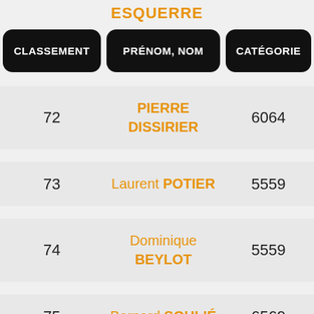ESQUERRE
| CLASSEMENT | PRÉNOM, NOM | CATÉGORIE |
| --- | --- | --- |
| 72 | PIERRE DISSIRIER | 6064 |
| 73 | Laurent POTIER | 5559 |
| 74 | Dominique BEYLOT | 5559 |
| 75 | Bernard SOULIÉ | 6569 |
|  | Christophe |  |